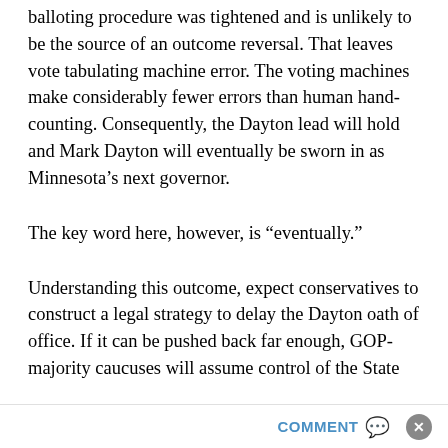balloting procedure was tightened and is unlikely to be the source of an outcome reversal. That leaves vote tabulating machine error. The voting machines make considerably fewer errors than human hand-counting. Consequently, the Dayton lead will hold and Mark Dayton will eventually be sworn in as Minnesota's next governor.
The key word here, however, is “eventually.”
Understanding this outcome, expect conservatives to construct a legal strategy to delay the Dayton oath of office. If it can be pushed back far enough, GOP-majority caucuses will assume control of the State
COMMENT